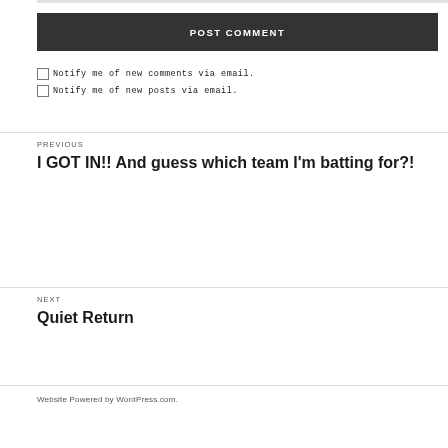POST COMMENT
Notify me of new comments via email.
Notify me of new posts via email.
PREVIOUS
I GOT IN!! And guess which team I'm batting for?!
NEXT
Quiet Return
Website Powered by WordPress.com.